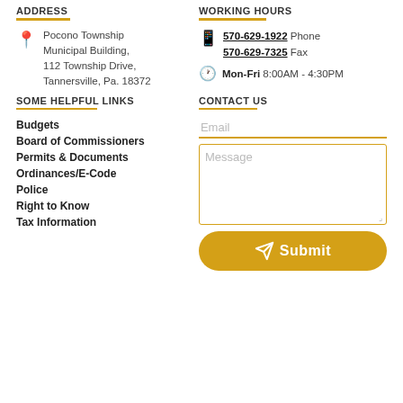ADDRESS
WORKING HOURS
Pocono Township Municipal Building, 112 Township Drive, Tannersville, Pa. 18372
570-629-1922 Phone
570-629-7325 Fax
Mon-Fri 8:00AM - 4:30PM
SOME HELPFUL LINKS
CONTACT US
Budgets
Board of Commissioners
Permits & Documents
Ordinances/E-Code
Police
Right to Know
Tax Information
Email
Message
Submit